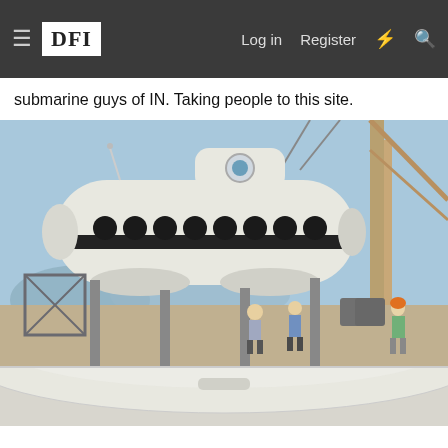≡ DFI   Log in   Register
submarine guys of IN. Taking people to this site.
[Figure (photo): A white tourist submarine being lifted by a crane at a shipyard or dock. Workers stand on the dock below watching. The submarine has multiple round porthole windows along its side and a small conning tower on top. A large crane structure is visible on the right. Mountains and blue sky are visible in the background.]
[Figure (photo): Partial view of white submarine surface, bottom portion of page.]